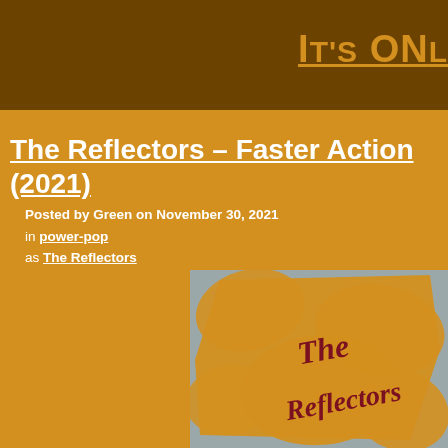It's onl
The Reflectors – Faster Action (2021)
Posted by Green on November 30, 2021
in power-pop
as The Reflectors
[Figure (illustration): Album cover for The Reflectors – Faster Action (2021). Grey background with orange paint-brush splash effect. Text 'The Reflectors' in dark red cursive script overlaid on the splash.]